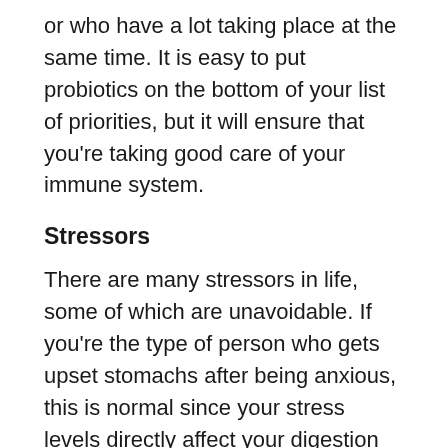or who have a lot taking place at the same time. It is easy to put probiotics on the bottom of your list of priorities, but it will ensure that you're taking good care of your immune system.
Stressors
There are many stressors in life, some of which are unavoidable. If you're the type of person who gets upset stomachs after being anxious, this is normal since your stress levels directly affect your digestion and your gut health. Every body part is interconnected, physical and mental. Understanding this will allow you to see how probiotics can help with dealing with stress and delaying the effects of stress-related situations